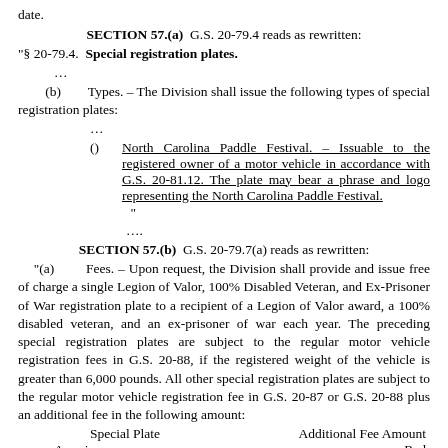date.
SECTION 57.(a)  G.S. 20-79.4 reads as rewritten:
"§ 20-79.4.  Special registration plates.
…
(b)       Types. – The Division shall issue the following types of special registration plates:
…
()        North Carolina Paddle Festival. – Issuable to the registered owner of a motor vehicle in accordance with G.S. 20-81.12. The plate may bear a phrase and logo representing the North Carolina Paddle Festival.
"
….
SECTION 57.(b)  G.S. 20-79.7(a) reads as rewritten:
"(a)      Fees. – Upon request, the Division shall provide and issue free of charge a single Legion of Valor, 100% Disabled Veteran, and Ex-Prisoner of War registration plate to a recipient of a Legion of Valor award, a 100% disabled veteran, and an ex-prisoner of war each year. The preceding special registration plates are subject to the regular motor vehicle registration fees in G.S. 20-88, if the registered weight of the vehicle is greater than 6,000 pounds. All other special registration plates are subject to the regular motor vehicle registration fee in G.S. 20-87 or G.S. 20-88 plus an additional fee in the following amount:
| Special Plate |  | Additional Fee Amount |
| --- | --- | --- |
| American |  | Red |
| Cross |  | $30.00 |
| Alcohol… |  |  |